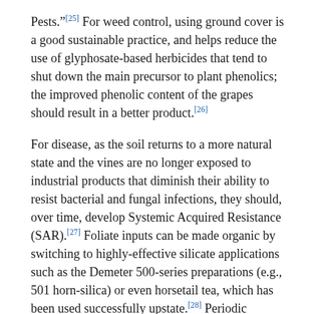Pests."[25] For weed control, using ground cover is a good sustainable practice, and helps reduce the use of glyphosate-based herbicides that tend to shut down the main precursor to plant phenolics; the improved phenolic content of the grapes should result in a better product.[26]
For disease, as the soil returns to a more natural state and the vines are no longer exposed to industrial products that diminish their ability to resist bacterial and fungal infections, they should, over time, develop Systemic Acquired Resistance (SAR).[27] Foliate inputs can be made organic by switching to highly-effective silicate applications such as the Demeter 500-series preparations (e.g., 501 horn-silica) or even horsetail tea, which has been used successfully upstate.[28] Periodic applications of chemical sprays may be needed until SAR has been induced, but the use of tunnel spraying apparatus should keep such sprays from entering the soil.  Even this may be avoidable if one applies safe, organic sprays such as sulphur for powdery mildew, while liquid seaweed, fatty acids